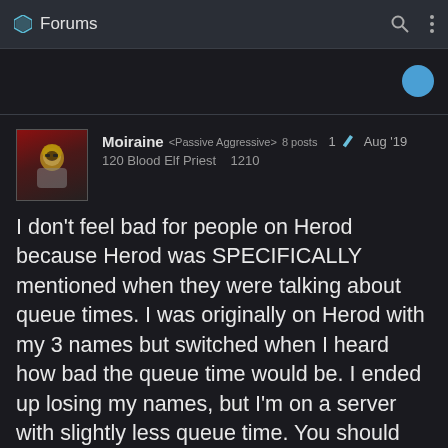Forums
Moiraine <Passive Aggressive> 8 posts  1✎  Aug '19
120 Blood Elf Priest  1210
I don't feel bad for people on Herod because Herod was SPECIFICALLY mentioned when they were talking about queue times. I was originally on Herod with my 3 names but switched when I heard how bad the queue time would be. I ended up losing my names, but I'm on a server with slightly less queue time. You should have listened when they said not to go Herod.
I'm not saying that queue times are other servers, but they're worse o